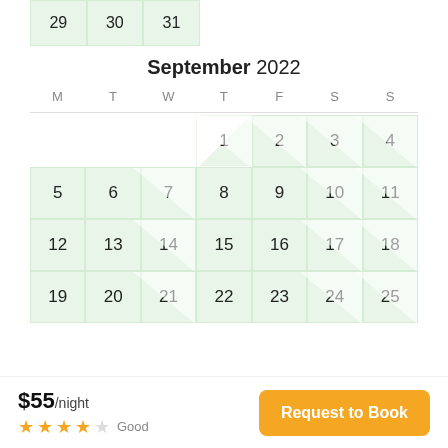[Figure (other): Calendar view showing end of previous month (days 29, 30, 31) and September 2022 with days 1-25 visible. Green highlighted cells indicate available dates. Days 2-4 and 5-25 are green. Price shown as $55/night with 4-star Good rating and Request to Book button.]
$55/night
Good
Request to Book